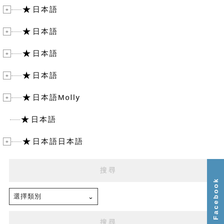★ 日本語
★ 日本語
★ 日本語
★ 日本語
★ 日本語Molly
★ 日本語
★ 日本語日本語
搜尋
選擇類別
搜尋
[Figure (other): Facebook sidebar tab with text 'Facebook' rotated vertically]
[Figure (other): Social sharing icons row: FB (blue circle), Line (green circle), Email (dark green circle with @ envelope)]